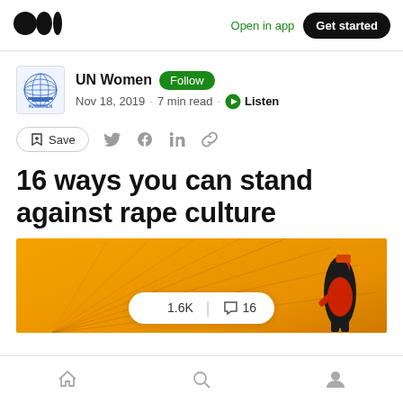Open in app  Get started
UN Women  Follow  Nov 18, 2019 · 7 min read · Listen
Save
16 ways you can stand against rape culture
[Figure (illustration): Yellow/orange illustrated hero image showing a figure with raised fist, with radiating lines in the background. Overlaid with a reaction pill showing 1.6K claps and 16 comments.]
Home  Search  Profile